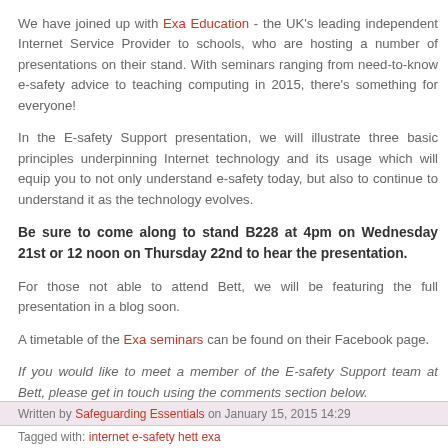We have joined up with Exa Education - the UK's leading independent Internet Service Provider to schools, who are hosting a number of presentations on their stand. With seminars ranging from need-to-know e-safety advice to teaching computing in 2015, there's something for everyone!
In the E-safety Support presentation, we will illustrate three basic principles underpinning Internet technology and its usage which will equip you to not only understand e-safety today, but also to continue to understand it as the technology evolves.
Be sure to come along to stand B228 at 4pm on Wednesday 21st or 12 noon on Thursday 22nd to hear the presentation.
For those not able to attend Bett, we will be featuring the full presentation in a blog soon.
A timetable of the Exa seminars can be found on their Facebook page.
If you would like to meet a member of the E-safety Support team at Bett, please get in touch using the comments section below.
Written by Safeguarding Essentials on January 15, 2015 14:29
Tagged with: internet e-safety hett exa